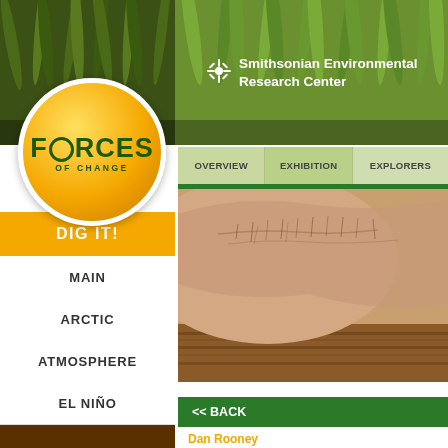[Figure (photo): Grass and nature background at top of page for Smithsonian Environmental Research Center Forces of Change website]
[Figure (logo): Forces of Change circular logo with orange/gold background and green text]
Smithsonian Environmental Research Center
OVERVIEW
EXHIBITION
EXPLORERS
DIG IT!
MAIN
ARCTIC
ATMOSPHERE
EL NIÑO
[Figure (photo): Close-up photo of a weathered hand touching soil or wood]
<< BACK
Dan Rooney
Managing Partner